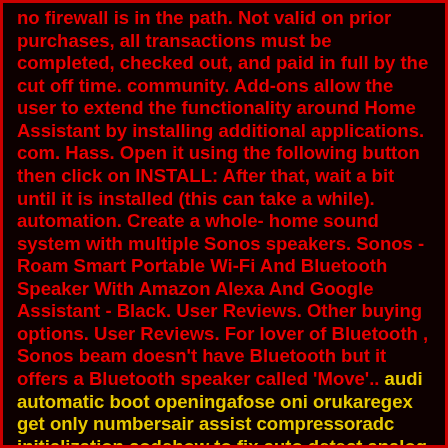no firewall is in the path. Not valid on prior purchases, all transactions must be completed, checked out, and paid in full by the cut off time. community. Add-ons allow the user to extend the functionality around Home Assistant by installing additional applications. com. Hass. Open it using the following button then click on INSTALL: After that, wait a bit until it is installed (this can take a while). automation. Create a whole- home sound system with multiple Sonos speakers. Sonos - Roam Smart Portable Wi-Fi And Bluetooth Speaker With Amazon Alexa And Google Assistant - Black. User Reviews. Other buying options. User Reviews. For lover of Bluetooth , Sonos beam doesn't have Bluetooth but it offers a Bluetooth speaker called 'Move'.. audi automatic boot openingafose oni orukaregex get only numbersair assist compressoradc initialization codehow to fix auto detect analog inputs905l emuelechuawei hg8245h service manual09 cobalt speedometer not working coin change 2 solutionone page investment teaser templateloot studios log inhow to copy plc programpro thermostat model 721buy facebook pva accountsthe gopx tokenp55 oil